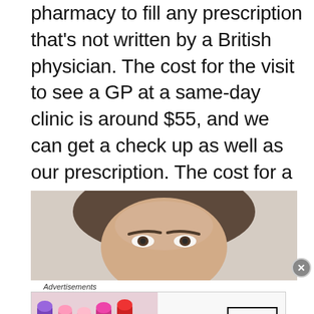pharmacy to fill any prescription that's not written by a British physician. The cost for the visit to see a GP at a same-day clinic is around $55, and we can get a check up as well as our prescription. The cost for a GP visit is even less in other countries such as France or Italy.
[Figure (photo): Close-up photo of a woman's face with brown hair, showing forehead and eyes]
Advertisements
[Figure (photo): MAC cosmetics advertisement banner showing lipsticks in purple, pink, and red with MAC logo and SHOP NOW button]